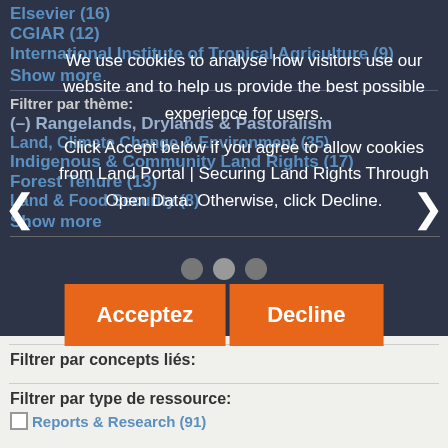Elsevier (16)
CGIAR (12)
International Institute of Tropical Agriculture (9)
Show more
Filtrer par thème:
(–) Rangelands, Drylands & Pastoralism
Land, Climate Change & Environment (35)
Indigenous & Community Land Rights (17)
Forest Tenure (13)
Land & Food Security (8)
Show more
[Figure (screenshot): Cookie consent dialog overlay with text: We use cookies to analyse how visitors use our website and to help us provide the best possible experience for users. Click Accept below if you agree to allow cookies from Land Portal | Securing Land Rights Through Open Data. Otherwise, click Decline. Buttons: Acceptez, Decline]
Filtrer par concepts liés:
Filtrer par type de ressource:
Reports & Research (91)